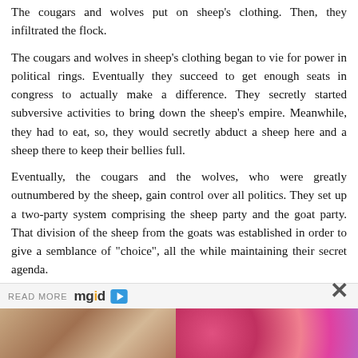The cougars and wolves put on sheep's clothing. Then, they infiltrated the flock.
The cougars and wolves in sheep's clothing began to vie for power in political rings. Eventually they succeed to get enough seats in congress to actually make a difference. They secretly started subversive activities to bring down the sheep's empire. Meanwhile, they had to eat, so, they would secretly abduct a sheep here and a sheep there to keep their bellies full.
Eventually, the cougars and the wolves, who were greatly outnumbered by the sheep, gain control over all politics. They set up a two-party system comprising the sheep party and the goat party. That division of the sheep from the goats was established in order to give a semblance of “choice”, all the while maintaining their secret agenda.
READ MORE mgid
[Figure (photo): Two partial images at the bottom of the page: a brownish/tan photo on the left and a colorful pink/magenta circular pattern on the right.]